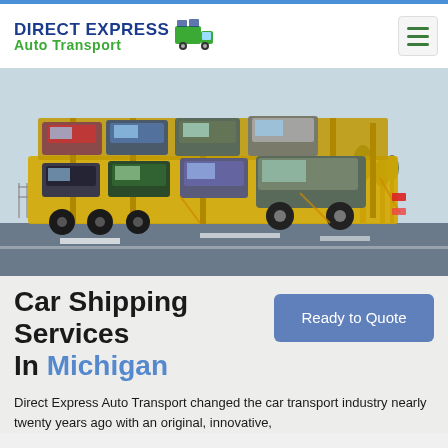DIRECT EXPRESS Auto Transport
[Figure (photo): A large car carrier truck loaded with multiple vehicles driving on a highway. The truck has a yellow chassis and carries about 8-10 cars on two levels.]
Car Shipping Services In Michigan
Ready to Quote
Direct Express Auto Transport changed the car transport industry nearly twenty years ago with an original, innovative,